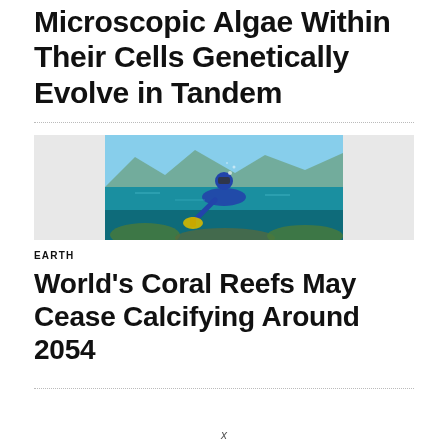Microscopic Algae Within Their Cells Genetically Evolve in Tandem
[Figure (photo): A scuba diver photographed half above and half below the water surface, working on a coral reef with turquoise water and mountains in the background]
EARTH
World’s Coral Reefs May Cease Calcifying Around 2054